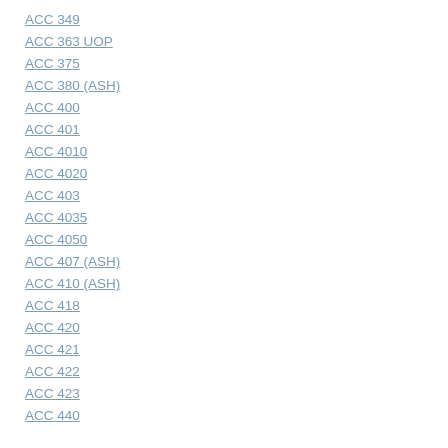ACC 349
ACC 363 UOP
ACC 375
ACC 380 (ASH)
ACC 400
ACC 401
ACC 4010
ACC 4020
ACC 403
ACC 4035
ACC 4050
ACC 407 (ASH)
ACC 410 (ASH)
ACC 418
ACC 420
ACC 421
ACC 422
ACC 423
ACC 440